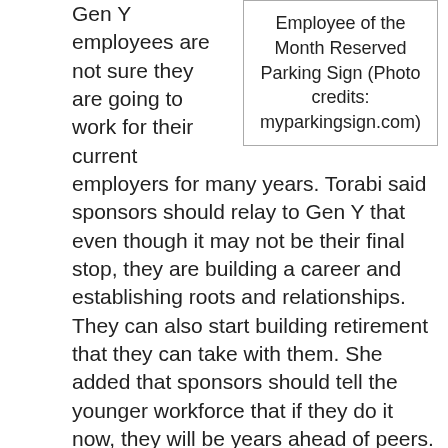[Figure (other): A caption box with border reading: Employee of the Month Reserved Parking Sign (Photo credits: myparkingsign.com)]
Gen Y employees are not sure they are going to work for their current employers for many years. Torabi said sponsors should relay to Gen Y that even though it may not be their final stop, they are building a career and establishing roots and relationships. They can also start building retirement that they can take with them. She added that sponsors should tell the younger workforce that if they do it now, they will be years ahead of peers. “If you tell them they’ll be $50,000 ahead of their best friend, that will get their attention,” she said.Gen Y is used to being rewarded, so retirement plan education should focus on the incentives.